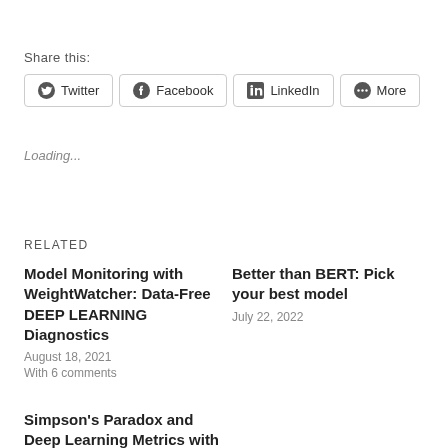Share this:
Twitter  Facebook  LinkedIn  More
Loading...
Related
Model Monitoring with WeightWatcher: Data-Free DEEP LEARNING Diagnostics
August 18, 2021
With 6 comments
Better than BERT: Pick your best model
July 22, 2022
Simpson's Paradox and Deep Learning Metrics with